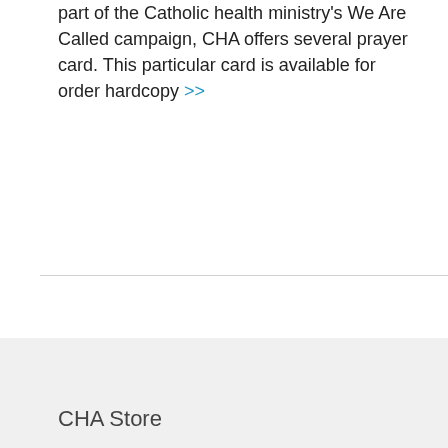part of the Catholic health ministry's We Are Called campaign, CHA offers several prayer card. This particular card is available for order hardcopy >>
+ View Details
Back to Top ▲
CHA Store